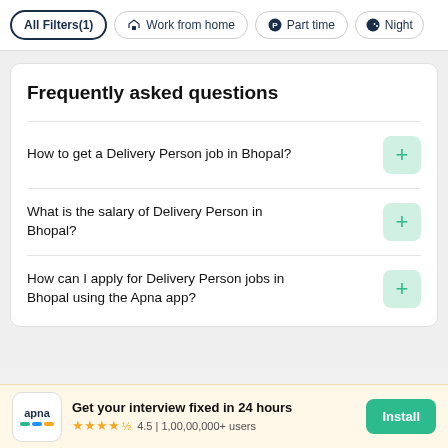All Filters(1) | Work from home | Part time | Night
Frequently asked questions
How to get a Delivery Person job in Bhopal?
What is the salary of Delivery Person in Bhopal?
How can I apply for Delivery Person jobs in Bhopal using the Apna app?
Get your interview fixed in 24 hours 4.5 | 1,00,00,000+ users Install